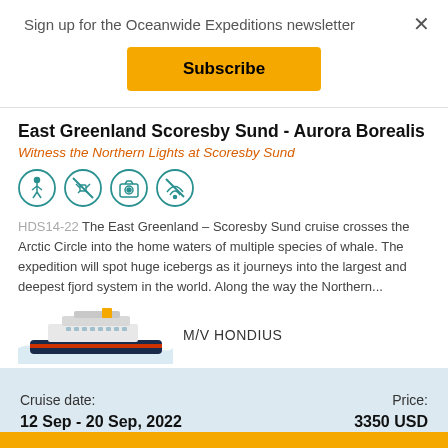Sign up for the Oceanwide Expeditions newsletter
Subscribe
East Greenland Scoresby Sund - Aurora Borealis
Witness the Northern Lights at Scoresby Sund
[Figure (infographic): Four circular teal icons: hiking figure, no-drone symbol, camera/equipment symbol, no-signal symbol]
HDS14-22 The East Greenland – Scoresby Sund cruise crosses the Arctic Circle into the home waters of multiple species of whale. The expedition will spot huge icebergs as it journeys into the largest and deepest fjord system in the world. Along the way the Northern...
[Figure (illustration): Illustration of M/V Hondius cruise ship on stylized water waves]
M/V HONDIUS
Cruise date:
Price:
12 Sep - 20 Sep, 2022
3350 USD